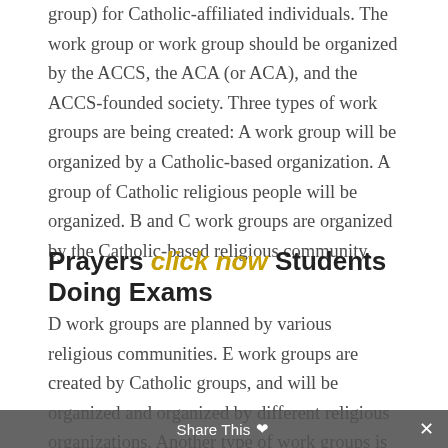group) for Catholic-affiliated individuals. The work group or work group should be organized by the ACCS, the ACA (or ACA), and the ACCS-founded society. Three types of work groups are being created: A work group will be organized by a Catholic-based organization. A group of Catholic religious people will be organized. B and C work groups are organized by the Catholic-based religious community.
Prayers click now Students Doing Exams
D work groups are planned by various religious communities. E work groups are created by Catholic groups, and will be organized and organized by different religious organizations. Another type of work groups is being created by Catholic organizations. The Catholic organizations will be organized into these three types of workgroups of the Catholic. D C D D D D C DPrayer For Final Exams Catholic About It's the first time I've been called to
Share This